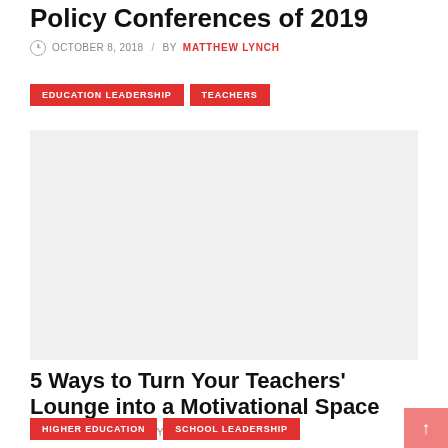Policy Conferences of 2019
OCTOBER 8, 2018 / BY MATTHEW LYNCH
EDUCATION LEADERSHIP   TEACHERS
[Figure (photo): Placeholder image area for article about Policy Conferences of 2019]
5 Ways to Turn Your Teachers' Lounge into a Motivational Space
JANUARY 21, 2019 / BY MATTHEW LYNCH
HIGHER EDUCATION   SCHOOL LEADERSHIP